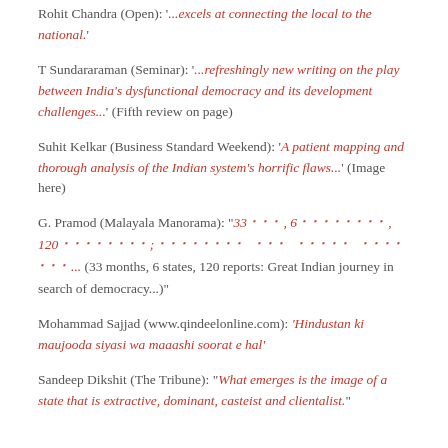Rohit Chandra (Open): '...excels at connecting the local to the national.'
T Sundararaman (Seminar): '...refreshingly new writing on the play between India's dysfunctional democracy and its development challenges...' (Fifth review on page)
Suhit Kelkar (Business Standard Weekend): 'A patient mapping and thorough analysis of the Indian system's horrific flaws...' (Image here)
G. Pramod (Malayala Manorama): "33 ഈ, 6 ........., 120 .........; ......... ... ..... .... ...... (33 months, 6 states, 120 reports: Great Indian journey in search of democracy...)"
Mohammad Sajjad (www.qindeelonline.com): 'Hindustan ki maujooda siyasi wa maaashi soorat e hal'
Sandeep Dikshit (The Tribune): "What emerges is the image of a state that is extractive, dominant, casteist and clientalist."